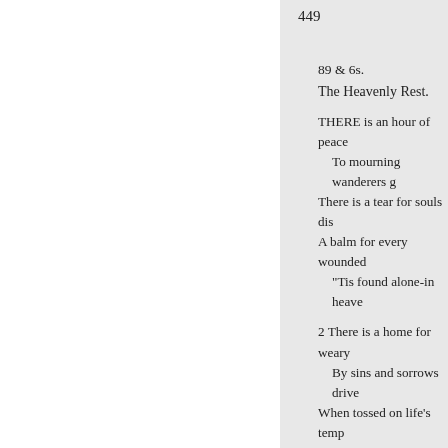449
89 & 6s.
The Heavenly Rest.
THERE is an hour of peace
To mourning wanderers g
There is a tear for souls dis
A balm for every wounded
"Tis found alone-in heave
2 There is a home for weary
By sins and sorrows drive
When tossed on life's temp
Where storms arise-and oc
And all is drear-but heave
3 There faith lifts up the tea
The heart with anguish riv
It views the tempest passir
Sees evening shadows qui
And all serene-in heaven.
4 There fragrant flowers in